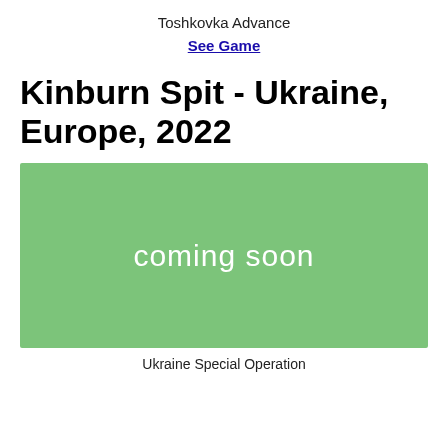Toshkovka Advance
See Game
Kinburn Spit - Ukraine, Europe, 2022
[Figure (illustration): Green rectangle placeholder image with white text reading 'coming soon']
Ukraine Special Operation